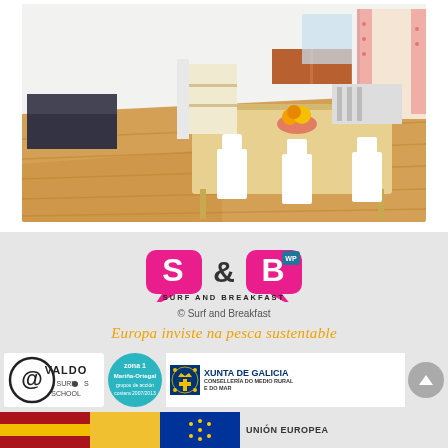[Figure (photo): Interior photo of a bright living/dining room with wooden floor, white dining table and chairs with orange fruit bowl, sofa in background, kitchen visible, white walls and windows with floral curtains]
[Figure (logo): S&B Surf and Breakfast logo in pink/magenta with speech bubble style lettering]
© Surf and Breakfast
Europa inviste na pesca sustentable
[Figure (logo): Valdo Surf School logo - circular logo with @ symbol and text VALDO SURF SCHOOL]
[Figure (logo): Zona 1 - Ría Mariña-Ortegal - grupos de acción costera 2007/2013 - circular teal logo]
[Figure (logo): Xunta de Galicia - Consellería do Medio Rural e do Mar - official emblem with text]
UNIÓN EUROPEA